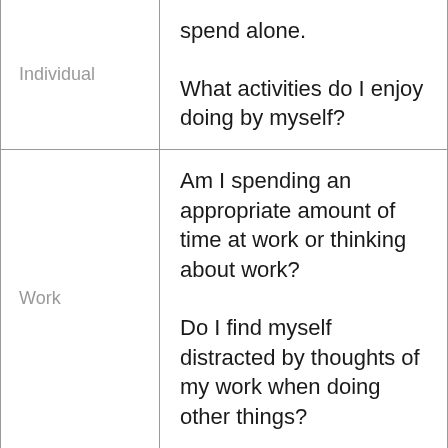| Category | Questions |
| --- | --- |
| Individual | spend alone.

What activities do I enjoy doing by myself? |
| Work | Am I spending an appropriate amount of time at work or thinking about work?

Do I find myself distracted by thoughts of my work when doing other things? |
|  |  |